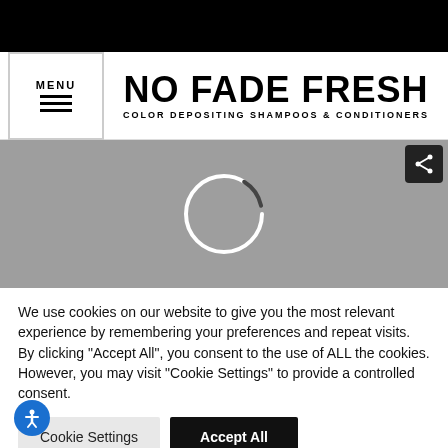[Figure (screenshot): Black top bar of a website]
MENU | NO FADE FRESH COLOR DEPOSITING SHAMPOOS & CONDITIONERS
[Figure (screenshot): Gray hero image area with loading spinner circle and share button]
We use cookies on our website to give you the most relevant experience by remembering your preferences and repeat visits. By clicking "Accept All", you consent to the use of ALL the cookies. However, you may visit "Cookie Settings" to provide a controlled consent.
Cookie Settings | Accept All